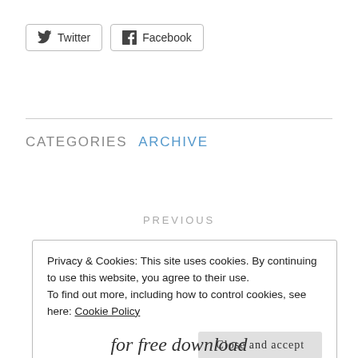[Figure (other): Twitter and Facebook social share buttons]
CATEGORIES  ARCHIVE
PREVIOUS
R I R Emily Liddl…
Privacy & Cookies: This site uses cookies. By continuing to use this website, you agree to their use.
To find out more, including how to control cookies, see here: Cookie Policy
Close and accept
for free download